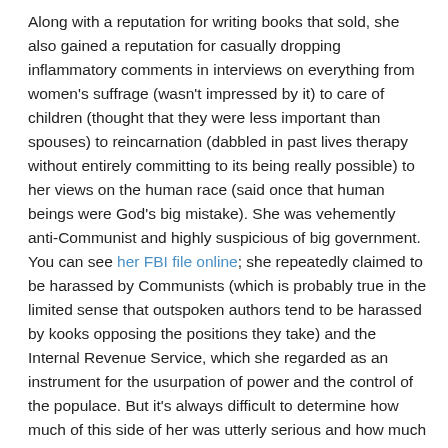Along with a reputation for writing books that sold, she also gained a reputation for casually dropping inflammatory comments in interviews on everything from women's suffrage (wasn't impressed by it) to care of children (thought that they were less important than spouses) to reincarnation (dabbled in past lives therapy without entirely committing to its being really possible) to her views on the human race (said once that human beings were God's big mistake). She was vehemently anti-Communist and highly suspicious of big government. You can see her FBI file online; she repeatedly claimed to be harassed by Communists (which is probably true in the limited sense that outspoken authors tend to be harassed by kooks opposing the positions they take) and the Internal Revenue Service, which she regarded as an instrument for the usurpation of power and the control of the populace. But it's always difficult to determine how much of this side of her was utterly serious and how much of it was dramatic hyperbole. Probably a bit of both, since there is no doubt that she put a high value on saying things frankly and yet also relished controversy. It's also true that expressing herself very vividly is something at which Caldwell excelled.